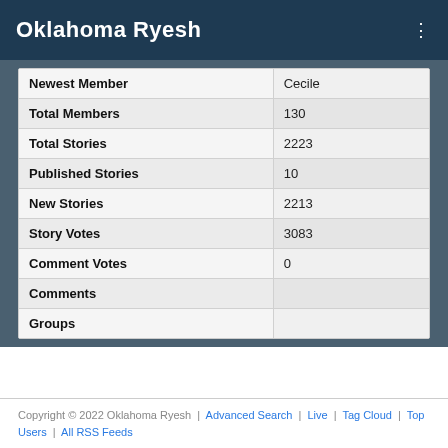Oklahoma Ryesh
|  |  |
| --- | --- |
| Newest Member | Cecile |
| Total Members | 130 |
| Total Stories | 2223 |
| Published Stories | 10 |
| New Stories | 2213 |
| Story Votes | 3083 |
| Comment Votes | 0 |
| Comments |  |
| Groups |  |
Copyright © 2022 Oklahoma Ryesh | Advanced Search | Live | Tag Cloud | Top Users | All RSS Feeds